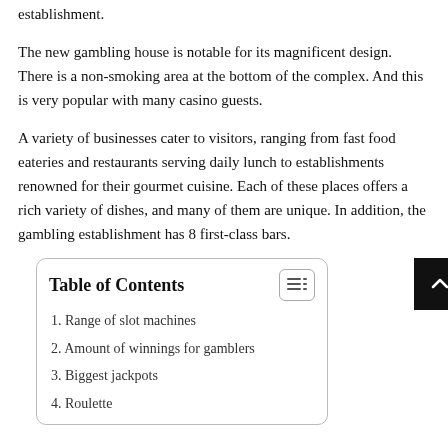establishment.
The new gambling house is notable for its magnificent design. There is a non-smoking area at the bottom of the complex. And this is very popular with many casino guests.
A variety of businesses cater to visitors, ranging from fast food eateries and restaurants serving daily lunch to establishments renowned for their gourmet cuisine. Each of these places offers a rich variety of dishes, and many of them are unique. In addition, the gambling establishment has 8 first-class bars.
Table of Contents
1. Range of slot machines
2. Amount of winnings for gamblers
3. Biggest jackpots
4. Roulette